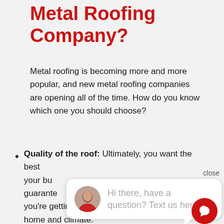Metal Roofing Company?
Metal roofing is becoming more and more popular, and new metal roofing companies are opening all of the time. How do you know which one you should choose?
Quality of the roof: Ultimately, you want the best... your budget... guarantee... you're getting the best roof for your home and climate.
Customer service: Your experience during roof installation is important.
[Figure (screenshot): Chat widget overlay showing a customer service chat popup with an avatar, the message 'Hi there, have a question? Text us here.' and a red chat button with a speech bubble icon. A 'close' label appears in the top right corner of the popup.]